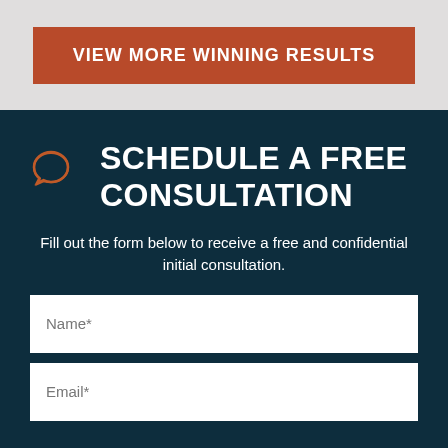VIEW MORE WINNING RESULTS
SCHEDULE A FREE CONSULTATION
Fill out the form below to receive a free and confidential initial consultation.
Name*
Email*